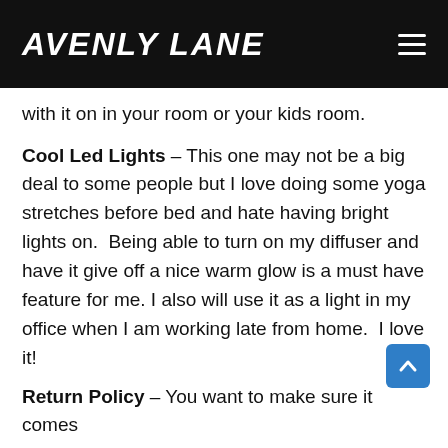AVENLY LANE
with it on in your room or your kids room.
Cool Led Lights – This one may not be a big deal to some people but I love doing some yoga stretches before bed and hate having bright lights on.  Being able to turn on my diffuser and have it give off a nice warm glow is a must have feature for me. I also will use it as a light in my office when I am working late from home.  I love it!
Return Policy – You want to make sure it comes